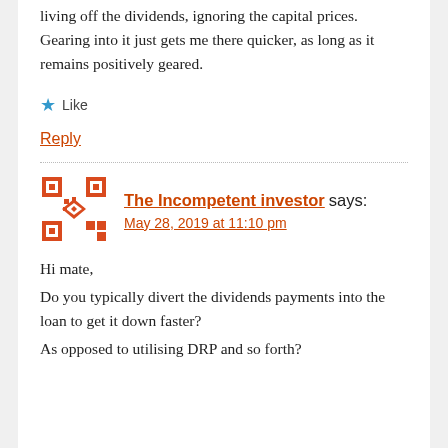living off the dividends, ignoring the capital prices. Gearing into it just gets me there quicker, as long as it remains positively geared.
Like
Reply
The Incompetent investor says:
May 28, 2019 at 11:10 pm
Hi mate,
Do you typically divert the dividends payments into the loan to get it down faster?
As opposed to utilising DRP and so forth?